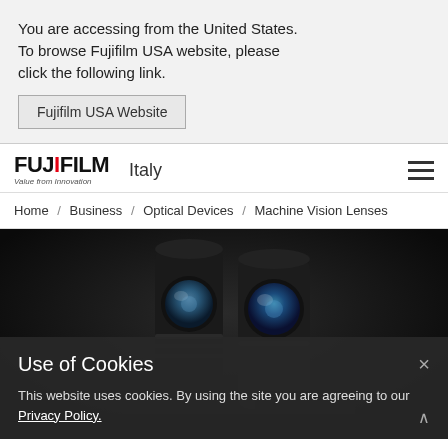You are accessing from the United States. To browse Fujifilm USA website, please click the following link.
Fujifilm USA Website
[Figure (logo): FUJIFILM logo with red I, tagline 'Value from Innovation', and country label 'Italy']
Home / Business / Optical Devices / Machine Vision Lenses
[Figure (photo): Multiple black machine vision camera lenses on a dark reflective surface]
Use of Cookies
This website uses cookies. By using the site you are agreeing to our Privacy Policy.